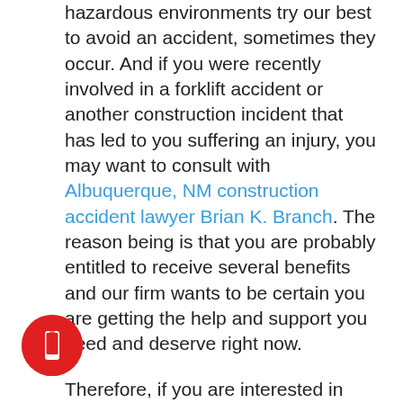hazardous environments try our best to avoid an accident, sometimes they occur. And if you were recently involved in a forklift accident or another construction incident that has led to you suffering an injury, you may want to consult with Albuquerque, NM construction accident lawyer Brian K. Branch. The reason being is that you are probably entitled to receive several benefits and our firm wants to be certain you are getting the help and support you need and deserve right now.

Therefore, if you are interested in learning more about worker's compensation benefits and which ones your employer should be providing you contact the Law Office of Brian K. Branch to get an initial consultation scheduled.